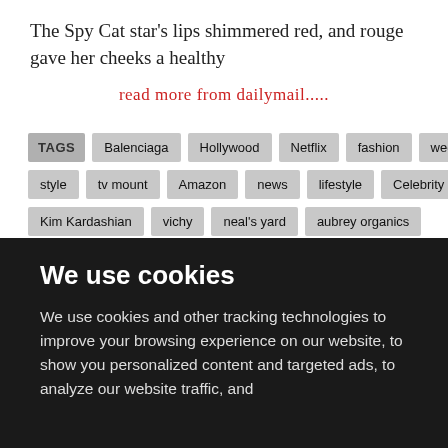The Spy Cat star's lips shimmered red, and rouge gave her cheeks a healthy
read more from dailymail.....
TAGS: Balenciaga, Hollywood, Netflix, fashion, wedding, dress, style, tv mount, Amazon, news, lifestyle, Celebrity News, Kim Kardashian, vichy, neal's yard, aubrey organics, neal's yard remedies, babo botanicals, kiehls store, the body, american auto insurance, auto policy quote, auto quotes online
We use cookies
We use cookies and other tracking technologies to improve your browsing experience on our website, to show you personalized content and targeted ads, to analyze our website traffic, and